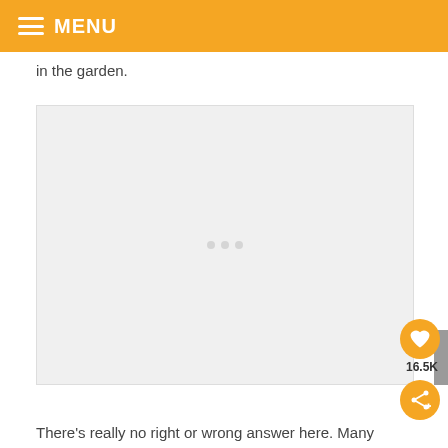MENU
in the garden.
[Figure (photo): Large light gray image placeholder area, likely a photo of a garden, with faint loading dots in center.]
There’s really no right or wrong answer here. Many